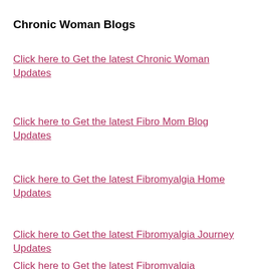Chronic Woman Blogs
Click here to Get the latest Chronic Woman Updates
Click here to Get the latest Fibro Mom Blog Updates
Click here to Get the latest Fibromyalgia Home Updates
Click here to Get the latest Fibromyalgia Journey Updates
Click here to Get the latest Fibromyalgia